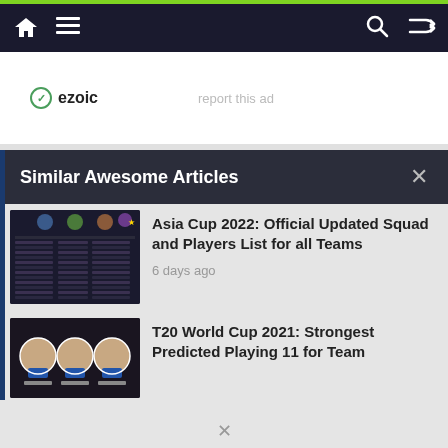Navigation bar with home, menu, search, and shuffle icons
[Figure (screenshot): Ezoic advertisement banner with report this ad link]
Similar Awesome Articles
[Figure (screenshot): Thumbnail image of Asia Cup 2022 squad list table]
Asia Cup 2022: Official Updated Squad and Players List for all Teams
6 days ago
[Figure (screenshot): Thumbnail image of T20 World Cup 2021 with player faces]
T20 World Cup 2021: Strongest Predicted Playing 11 for Team